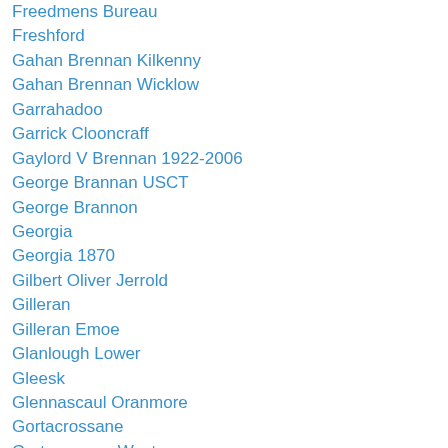Freedmens Bureau
Freshford
Gahan Brennan Kilkenny
Gahan Brennan Wicklow
Garrahadoo
Garrick Clooncraff
Gaylord V Brennan 1922-2006
George Brannan USCT
George Brannon
Georgia
Georgia 1870
Gilbert Oliver Jerrold
Gilleran
Gilleran Emoe
Glanlough Lower
Gleesk
Glennascaul Oranmore
Gortacrossane
Gortagurrane West
Gortakissane
Graigues